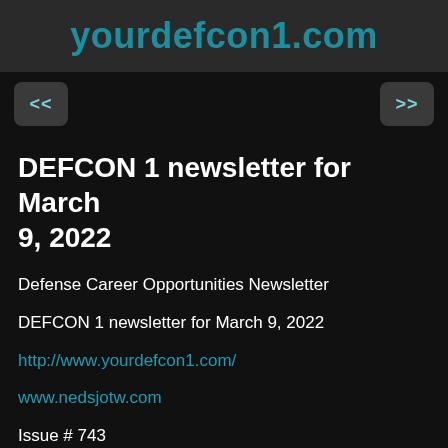yourdefcon1.com
DEFCON 1 newsletter for March 9, 2022
Defense Career Opportunities Newsletter
DEFCON 1 newsletter for March 9, 2022
http://www.yourdefcon1.com/
www.nedsjotw.com
Issue # 743